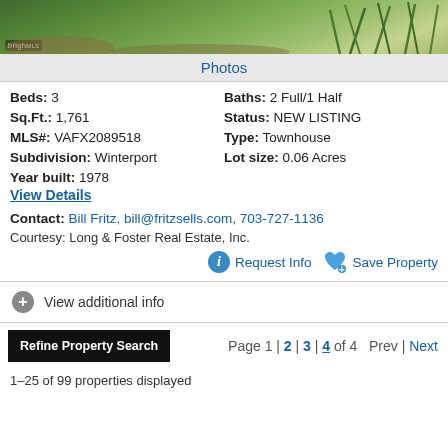[Figure (photo): Exterior photo of a townhouse with green landscaping and a walkway]
Photos
Beds: 3   Baths: 2 Full/1 Half
Sq.Ft.: 1,761   Status: NEW LISTING
MLS#: VAFX2089518   Type: Townhouse
Subdivision: Winterport   Lot size: 0.06 Acres
Year built: 1978
View Details
Contact: Bill Fritz, bill@fritzsells.com, 703-727-1136
Courtesy: Long & Foster Real Estate, Inc.
Request Info   Save Property
View additional info
Refine Property Search   Page 1 | 2 | 3 | 4 of 4   Prev | Next
1–25 of 99 properties displayed